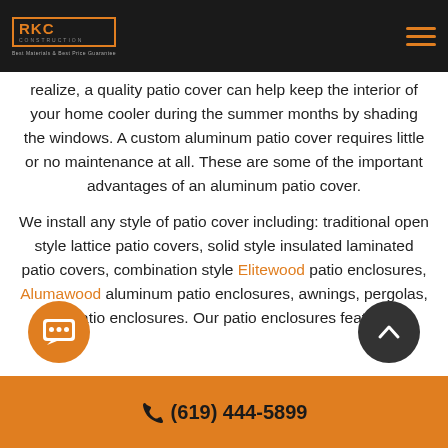RKC Construction — Best Materials & Best Price Guarantee
realize, a quality patio cover can help keep the interior of your home cooler during the summer months by shading the windows. A custom aluminum patio cover requires little or no maintenance at all. These are some of the important advantages of an aluminum patio cover.
We install any style of patio cover including: traditional open style lattice patio covers, solid style insulated laminated patio covers, combination style Elitewood patio enclosures, Alumawood aluminum patio enclosures, awnings, pergolas, and patio enclosures. Our patio enclosures feature or
(619) 444-5899